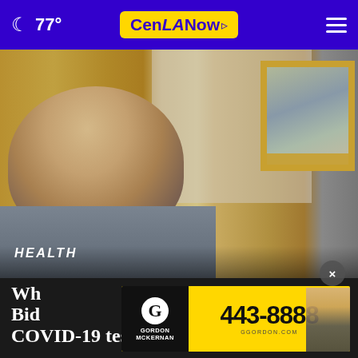🌙 77° | CenLA Now | ☰
[Figure (photo): Photo of President Biden seated in the Oval Office with golden curtains and a portrait painting visible in background]
HEALTH
Why Biden COVID-19 testing
[Figure (other): Advertisement banner for Gordon McKernan law firm with phone number 443-8888]